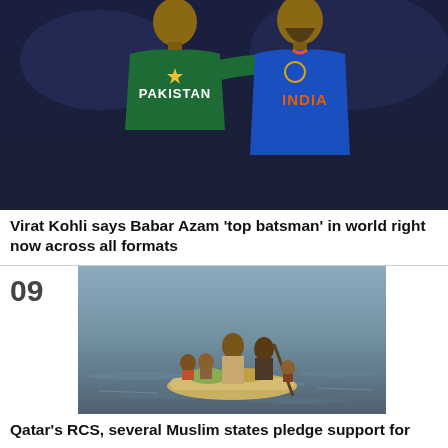[Figure (photo): Two cricketers posing together — one wearing a green Pakistan jersey and another wearing a blue India jersey, smiling at camera]
Virat Kohli says Babar Azam 'top batsman' in world right now across all formats
[Figure (photo): People on a makeshift raft on flood water, one standing and paddling with a pole, others seated, flood relief scene]
Qatar's RCS, several Muslim states pledge support for